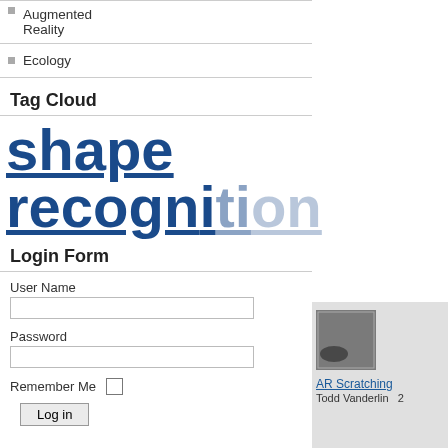Augmented Reality
Ecology
Tag Cloud
shape recognition
Login Form
User Name
Password
Remember Me
Log in
3D experience cereal box
Dassault Systemes (nesquick)
[Figure (photo): Thumbnail image showing hands with a vinyl record and AR setup]
AR Scratching
Todd Vanderlin